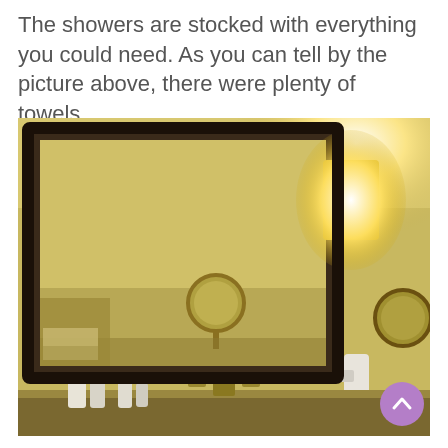The showers are stocked with everything you could need. As you can tell by the picture above, there were plenty of towels.
[Figure (photo): Hotel bathroom photo showing a large framed mirror reflecting the room, a wall-mounted sconce light glowing warmly, two round magnifying mirrors on either side, a hair dryer, toiletry bottles on the counter, and faucet fixtures at the bottom.]